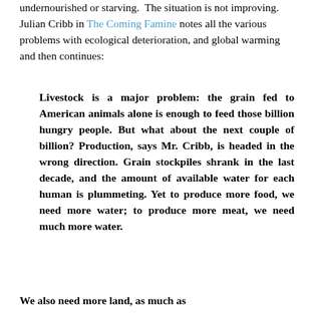undernourished or starving. The situation is not improving. Julian Cribb in The Coming Famine notes all the various problems with ecological deterioration, and global warming and then continues:
Livestock is a major problem: the grain fed to American animals alone is enough to feed those billion hungry people. But what about the next couple of billion? Production, says Mr. Cribb, is headed in the wrong direction. Grain stockpiles shrank in the last decade, and the amount of available water for each human is plummeting. Yet to produce more food, we need more water; to produce more meat, we need much more water.
We also need more land, as much as